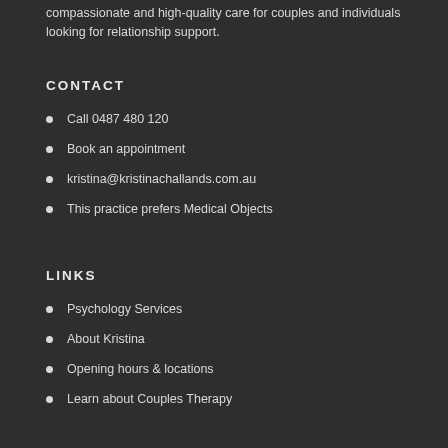compassionate and high-quality care for couples and individuals looking for relationship support.
CONTACT
Call 0487 480 120
Book an appointment
kristina@kristinachallands.com.au
This practice prefers Medical Objects
LINKS
Psychology Services
About Kristina
Opening hours & locations
Learn about Couples Therapy